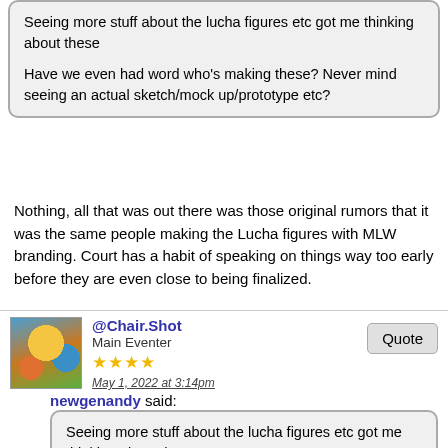Seeing more stuff about the lucha figures etc got me thinking about these

Have we even had word who's making these? Never mind seeing an actual sketch/mock up/prototype etc?
Nothing, all that was out there was those original rumors that it was the same people making the Lucha figures with MLW branding. Court has a habit of speaking on things way too early before they are even close to being finalized.
@Chair.Shot
Main Eventer
May 1, 2022 at 3:14pm
newgenandy said:
Seeing more stuff about the lucha figures etc got me thinking about these

Have we even had word who's making these? Never mind seeing